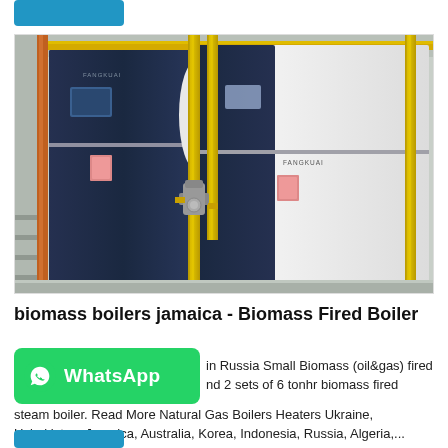[Figure (photo): Industrial boiler room with large dark navy blue biomass/gas fired boiler units, yellow pipes running vertically and horizontally, orange pipes on the left, and a valve assembly. White/grey walls in background.]
biomass boilers jamaica - Biomass Fired Boiler
[Figure (logo): WhatsApp green button with phone/WhatsApp icon and text 'WhatsApp']
in Russia Small Biomass (oil&gas) fired and 2 sets of 6 tonhr biomass fired steam boiler. Read More Natural Gas Boilers Heaters Ukraine, Uzbekistan, Jamaica, Australia, Korea, Indonesia, Russia, Algeria,...